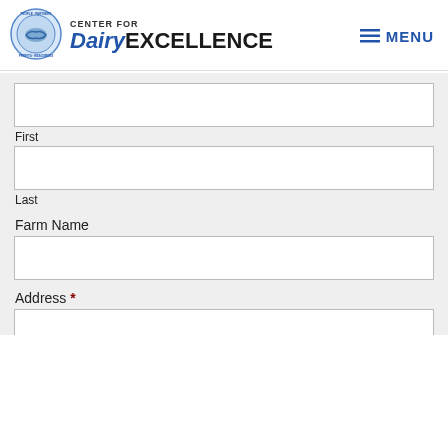[Figure (logo): Center for Dairy Excellence logo with circular badge showing handshake and text People Partners Profits Resources, alongside the brand name Center for Dairy Excellence]
MENU
First
Last
Farm Name
Address *